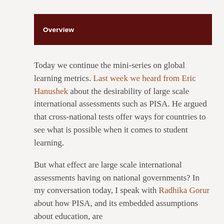Overview
Today we continue the mini-series on global learning metrics. Last week we heard from Eric Hanushek about the desirability of large scale international assessments such as PISA. He argued that cross-national tests offer ways for countries to see what is possible when it comes to student learning.
But what effect are large scale international assessments having on national governments? In my conversation today, I speak with Radhika Gorur about how PISA, and its embedded assumptions about education, are